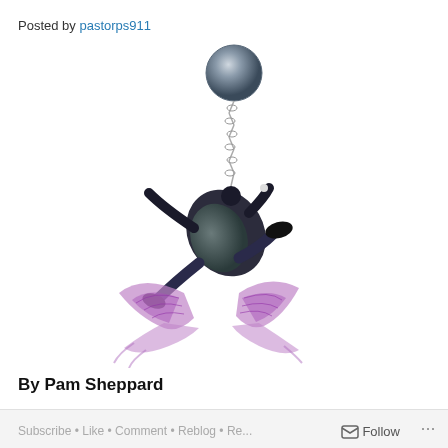Posted by pastorps911
[Figure (illustration): Digital illustration of a figure in dark clothes with purple angel wings, being pulled upward by a chain attached to a large metallic ball-and-chain, falling or suspended in mid-air against a white background.]
By Pam Sheppard
Follow ...